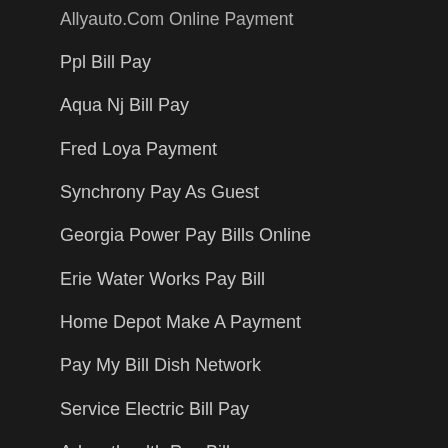Allyauto.Com Online Payment
Ppl Bill Pay
Aqua Nj Bill Pay
Fred Loya Payment
Synchrony Pay As Guest
Georgia Power Pay Bills Online
Erie Water Works Pay Bill
Home Depot Make A Payment
Pay My Bill Dish Network
Service Electric Bill Pay
Adventhealth Pay Bill
Nordstrom Bill Pay